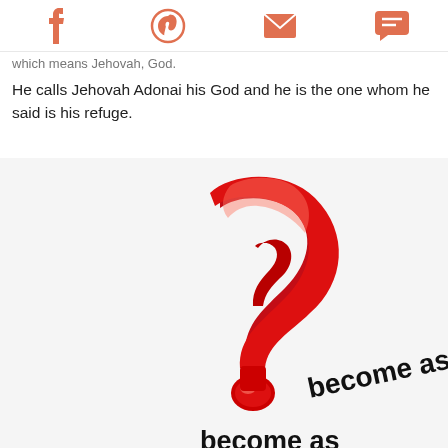[Social share icons: Facebook, Pinterest, Email, Chat]
which means Jehovah, God.
He calls Jehovah Adonai his God and he is the one whom he said is his refuge.
[Figure (photo): A shiny red 3D question mark on a white/light gray background, with curved text at the bottom right reading 'become as a' and partial text below.]